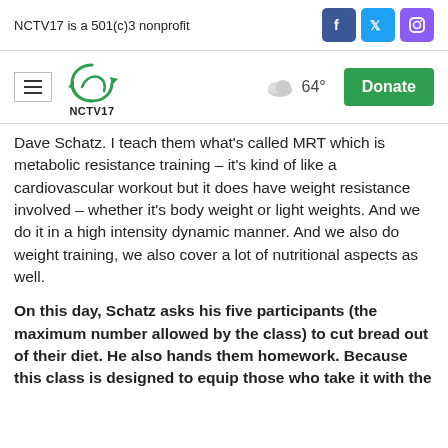NCTV17 is a 501(c)3 nonprofit
[Figure (logo): NCTV17 logo with green circular arrow icon and hamburger menu, weather cloud icon showing 64°, and green Donate button]
Dave Schatz. I teach them what's called MRT which is metabolic resistance training – it's kind of like a cardiovascular workout but it does have weight resistance involved – whether it's body weight or light weights. And we do it in a high intensity dynamic manner. And we also do weight training, we also cover a lot of nutritional aspects as well.
On this day, Schatz asks his five participants (the maximum number allowed by the class) to cut bread out of their diet. He also hands them homework. Because this class is designed to equip those who take it with the